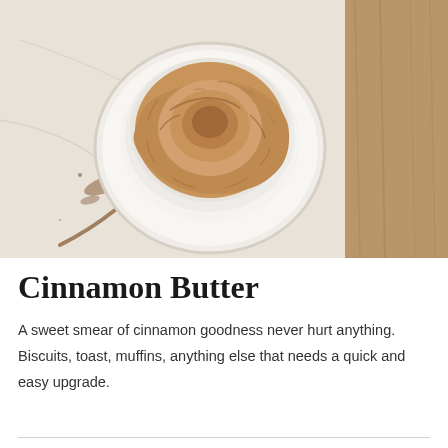[Figure (photo): Overhead view of cinnamon butter in a small white ceramic ramekin, with a spoon nearby on a light marble surface with a wooden background]
Cinnamon Butter
A sweet smear of cinnamon goodness never hurt anything. Biscuits, toast, muffins, anything else that needs a quick and easy upgrade.